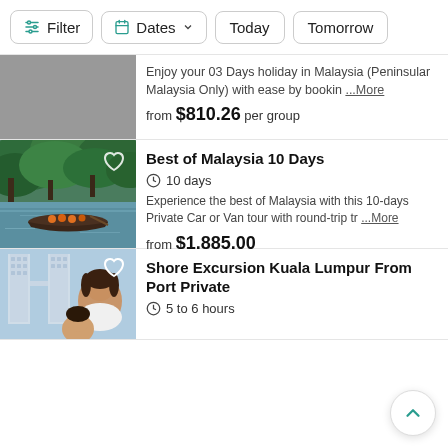Filter  Dates  Today  Tomorrow
Enjoy your 03 Days holiday in Malaysia (Peninsular Malaysia Only) with ease by bookin ...More
from $810.26 per group
[Figure (photo): Boat with tourists on a jungle river in Malaysia surrounded by lush green trees]
Best of Malaysia 10 Days
10 days
Experience the best of Malaysia with this 10-days Private Car or Van tour with round-trip tr ...More
from $1,885.00
[Figure (photo): Selfie of a woman and child in front of Petronas Twin Towers in Kuala Lumpur]
Shore Excursion Kuala Lumpur From Port Private
5 to 6 hours